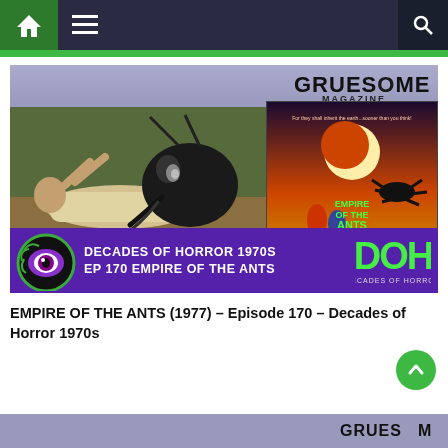Navigation bar with home, menu, and search icons
[Figure (screenshot): Thumbnail image for podcast episode: Decades of Horror 1970s Episode 170 Empire of the Ants. Shows a man being attacked by a giant ant, movie poster for Empire of the Ants, Gruesome Magazine logo, and DOH banner.]
EMPIRE OF THE ANTS (1977) – Episode 170 – Decades of Horror 1970s
[Figure (screenshot): Partial second thumbnail at bottom of page with Gruesome Magazine branding]